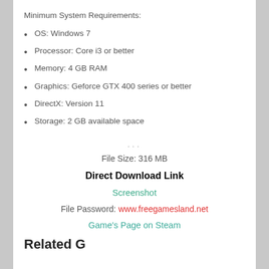Minimum System Requirements:
OS: Windows 7
Processor: Core i3 or better
Memory: 4 GB RAM
Graphics: Geforce GTX 400 series or better
DirectX: Version 11
Storage: 2 GB available space
...
File Size: 316 MB
Direct Download Link
Screenshot
File Password: www.freegamesland.net
Game's Page on Steam
Related G